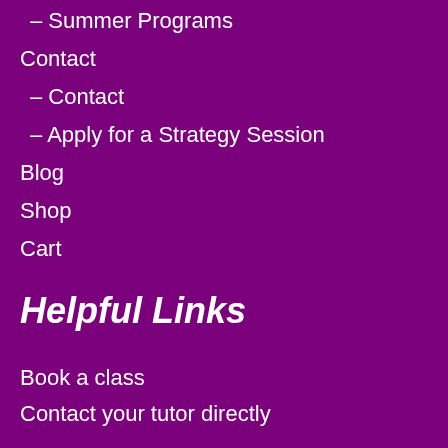– Summer Programs
Contact
– Contact
– Apply for a Strategy Session
Blog
Shop
Cart
Helpful Links
Book a class
Contact your tutor directly